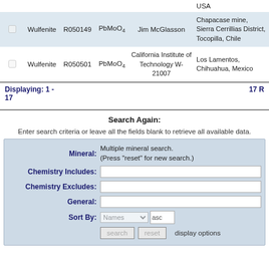|  | Name | ID | Formula | Collector/Donor | Location |
| --- | --- | --- | --- | --- | --- |
| ☐ | Wulfenite | R050149 | PbMoO4 | Jim McGlasson | Chapacase mine, Sierra Cerrillias District, Tocopilla, Chile |
| ☐ | Wulfenite | R050501 | PbMoO4 | California Institute of Technology W-21007 | Los Lamentos, Chihuahua, Mexico |
Displaying: 1 - 17    17 R
Search Again:
Enter search criteria or leave all the fields blank to retrieve all available data.
| Field | Value |
| --- | --- |
| Mineral: | Multiple mineral search. (Press "reset" for new search.) |
| Chemistry Includes: |  |
| Chemistry Excludes: |  |
| General: |  |
| Sort By: | Names  asc |